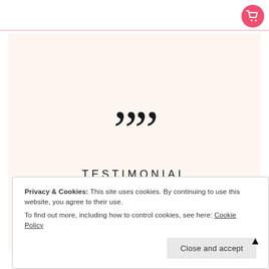[Figure (screenshot): Top navigation bar with pink/rose bottom border line and a red circular shopping cart icon in the top right corner]
TESTIMONIAL
Privacy & Cookies: This site uses cookies. By continuing to use this website, you agree to their use. To find out more, including how to control cookies, see here: Cookie Policy
Ruth